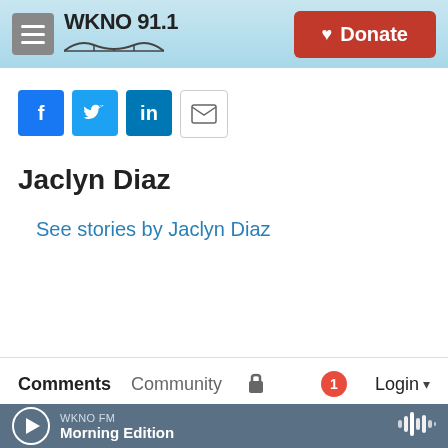[Figure (screenshot): WKNO 91.1 radio station website header with hamburger menu, logo with bridge graphic, and red Donate button]
[Figure (infographic): Social sharing icons row: Facebook (blue f), Twitter (blue bird), LinkedIn (blue in), Email (envelope outline)]
Jaclyn Diaz
See stories by Jaclyn Diaz
Comments  Community  [lock icon]  [1 notification]  Login
WKNO FM  Morning Edition  [play button]  [waveform icon]